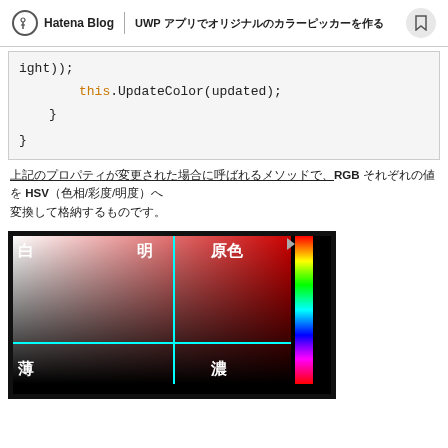Hatena Blog | UWP アプリでオリジナルのカラーピッカーを作る
[Figure (screenshot): Code block showing C# method body with 'ight));', 'this.UpdateColor(updated);', closing braces]
上記のプロパティが変更された場合に呼ばれるメソッドで、RGB それぞれの値を HSV（色相/彩度/明度）へ変換して格納するものです。
[Figure (screenshot): Color picker UI showing a 2D saturation/brightness gradient in red tones with cyan crosshairs, labeled 白 (white), 明 (bright), 原色 (pure color), 薄 (light), 濃 (dark). A vertical hue strip on the right side shows the full spectrum with an arrow indicator at the top.]